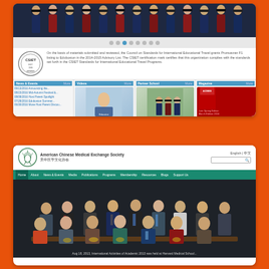[Figure (screenshot): Screenshot of eduboston.com website showing graduation photo, CSIET certification badge and text, news columns with links and thumbnails, and URL www.eduboston.com]
[Figure (screenshot): Screenshot of American Chinese Medical Exchange Society (美中医学文化协会) website showing header with logo and navigation bar (Home, About, News & Events, Media, Publications, Programs, Membership, Resources, Blogs, Support Us), and a group photo from an event at Harvard Medical School, Aug 18, 2013]